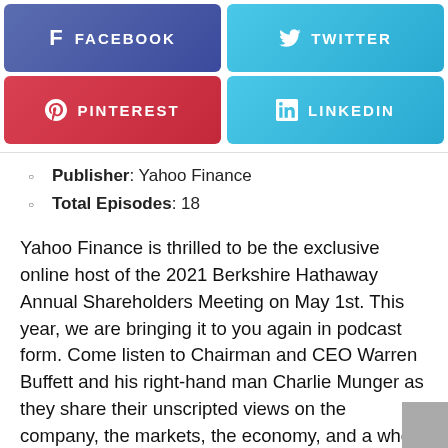[Figure (other): Social media share buttons: Facebook (blue-purple), Twitter (light blue), Pinterest (red), LinkedIn (light blue)]
Publisher: Yahoo Finance
Total Episodes: 18
Yahoo Finance is thrilled to be the exclusive online host of the 2021 Berkshire Hathaway Annual Shareholders Meeting on May 1st. This year, we are bringing it to you again in podcast form. Come listen to Chairman and CEO Warren Buffett and his right-hand man Charlie Munger as they share their unscripted views on the company, the markets, the economy, and a whole lot more.